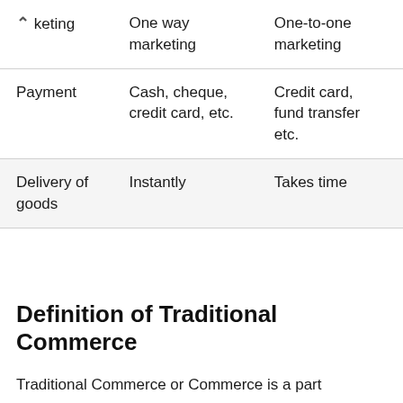|  | Traditional Commerce | E-Commerce |
| --- | --- | --- |
| Marketing | One way marketing | One-to-one marketing |
| Payment | Cash, cheque, credit card, etc. | Credit card, fund transfer etc. |
| Delivery of goods | Instantly | Takes time |
Definition of Traditional Commerce
Traditional Commerce or Commerce is a part